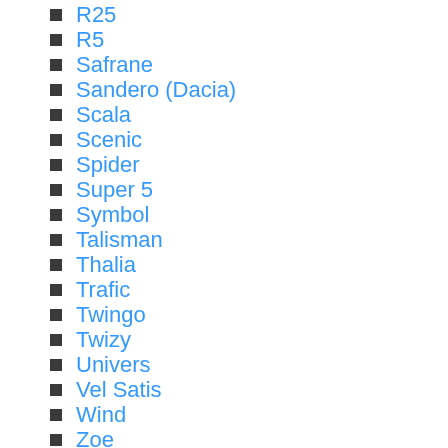R25
R5
Safrane
Sandero (Dacia)
Scala
Scenic
Spider
Super 5
Symbol
Talisman
Thalia
Trafic
Twingo
Twizy
Univers
Vel Satis
Wind
Zoe
Renault Samsung